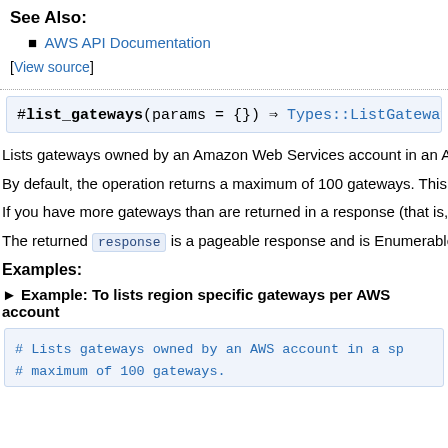See Also:
AWS API Documentation
[View source]
#list_gateways(params = {}) ⇒ Types::ListGatewaysOutput
Lists gateways owned by an Amazon Web Services account in an A
By default, the operation returns a maximum of 100 gateways. This
If you have more gateways than are returned in a response (that is,
The returned response is a pageable response and is Enumerable
Examples:
► Example: To lists region specific gateways per AWS account
# Lists gateways owned by an AWS account in a sp
# maximum of 100 gateways.